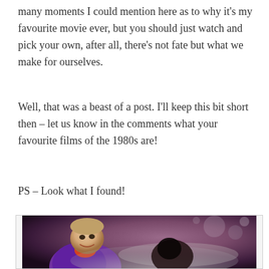many moments I could mention here as to why it's my favourite movie ever, but you should just watch and pick your own, after all, there's not fate but what we make for ourselves.
Well, that was a beast of a post. I'll keep this bit short then – let us know in the comments what your favourite films of the 1980s are!
PS – Look what I found!
[Figure (photo): A photograph showing a man in a purple jacket laughing or grinning, leaning forward, with smoke or mist visible in the foreground/background. The image has a vintage, slightly washed-out color tone.]